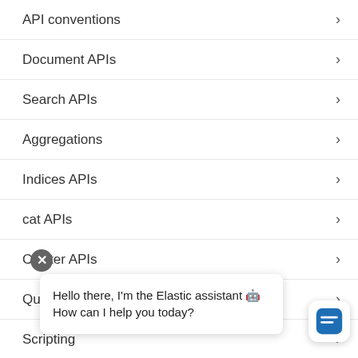API conventions
Document APIs
Search APIs
Aggregations
Indices APIs
cat APIs
Cluster APIs
Query DSL
Scripting
Mapping
[Figure (screenshot): Chat popup from Elastic assistant saying: Hello there, I'm the Elastic assistant 🤖 How can I help you today?]